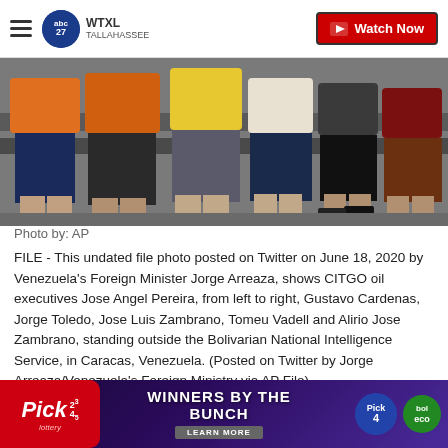WTXL Tallahassee | Watch Now
[Figure (photo): Group of people standing in a line wearing colorful shorts and shirts, photographed from the waist down, standing outside the Bolivarian National Intelligence Service in Caracas, Venezuela.]
Photo by: AP
FILE - This undated file photo posted on Twitter on June 18, 2020 by Venezuela's Foreign Minister Jorge Arreaza, shows CITGO oil executives Jose Angel Pereira, from left to right, Gustavo Cardenas, Jorge Toledo, Jose Luis Zambrano, Tomeu Vadell and Alirio Jose Zambrano, standing outside the Bolivarian National Intelligence Service, in Caracas, Venezuela. (Posted on Twitter by Jorge Arreaza/Venezuela's Foreign Ministry via AP File)
By: The Associated Press & Scripps National
Posted at 8:41 AM, Nov 27, 2020 and last updated 2:16 AM, Nov 29, 2020
CARA... itives held f...
[Figure (infographic): Pick 2 3 4 5 lottery advertisement banner — WINNERS BY THE BUNCH — LEARN MORE]